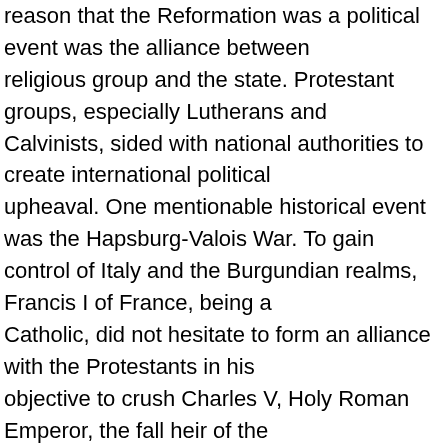reason that the Reformation was a political event was the alliance between religious group and the state. Protestant groups, especially Lutherans and Calvinists, sided with national authorities to create international political upheaval. One mentionable historical event was the Hapsburg-Valois War. To gain control of Italy and the Burgundian realms, Francis I of France, being a Catholic, did not hesitate to form an alliance with the Protestants in his objective to crush Charles V, Holy Roman Emperor, the fall heir of the Burgundian territories. On the other hand, the Protestant card